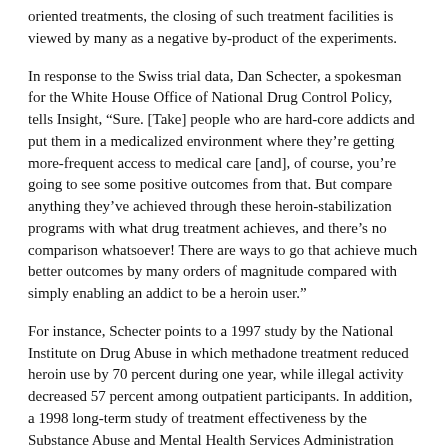oriented treatments, the closing of such treatment facilities is viewed by many as a negative by-product of the experiments.
In response to the Swiss trial data, Dan Schecter, a spokesman for the White House Office of National Drug Control Policy, tells Insight, “Sure. [Take] people who are hard-core addicts and put them in a medicalized environment where they’re getting more-frequent access to medical care [and], of course, you’re going to see some positive outcomes from that. But compare anything they’ve achieved through these heroin-stabilization programs with what drug treatment achieves, and there’s no comparison whatsoever! There are ways to go that achieve much better outcomes by many orders of magnitude compared with simply enabling an addict to be a heroin user.”
For instance, Schecter points to a 1997 study by the National Institute on Drug Abuse in which methadone treatment reduced heroin use by 70 percent during one year, while illegal activity decreased 57 percent among outpatient participants. In addition, a 1998 long-term study of treatment effectiveness by the Substance Abuse and Mental Health Services Administration evaluated outcomes for a national sample of 1.1 million individuals. Five years after discharge from